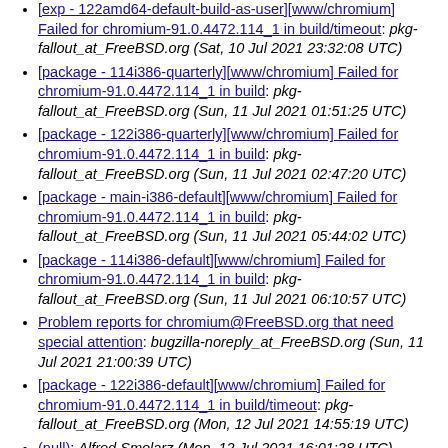[exp - 122amd64-default-build-as-user][www/chromium] Failed for chromium-91.0.4472.114_1 in build/timeout: pkg-fallout_at_FreeBSD.org (Sat, 10 Jul 2021 23:32:08 UTC)
[package - 114i386-quarterly][www/chromium] Failed for chromium-91.0.4472.114_1 in build: pkg-fallout_at_FreeBSD.org (Sun, 11 Jul 2021 01:51:25 UTC)
[package - 122i386-quarterly][www/chromium] Failed for chromium-91.0.4472.114_1 in build: pkg-fallout_at_FreeBSD.org (Sun, 11 Jul 2021 02:47:20 UTC)
[package - main-i386-default][www/chromium] Failed for chromium-91.0.4472.114_1 in build: pkg-fallout_at_FreeBSD.org (Sun, 11 Jul 2021 05:44:02 UTC)
[package - 114i386-default][www/chromium] Failed for chromium-91.0.4472.114_1 in build: pkg-fallout_at_FreeBSD.org (Sun, 11 Jul 2021 06:10:57 UTC)
Problem reports for chromium@FreeBSD.org that need special attention: bugzilla-noreply_at_FreeBSD.org (Sun, 11 Jul 2021 21:00:39 UTC)
[package - 122i386-default][www/chromium] Failed for chromium-91.0.4472.114_1 in build/timeout: pkg-fallout_at_FreeBSD.org (Mon, 12 Jul 2021 14:55:19 UTC)
(null): Alfred Smolarz (Mon, 12 Jul 2021 16:01:28 UTC)
[package - 130i386-quarterly][www/chromium] Failed for chromium-91.0.4472.114_1 in build: pkg-fallout_at_FreeBSD.org (Tue, 13 Jul 2021 17:53:45 UTC)